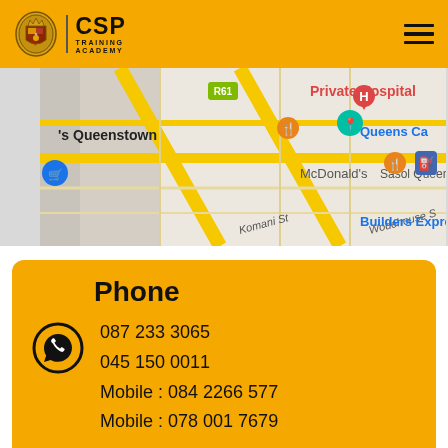[Figure (logo): CSP Training Academy logo with crest and text]
[Figure (map): Google Maps screenshot showing area around Queenstown with markers for Private Hospital, McDonald's, Sasol Queens, Queens Ca, Builders Expres, streets Komani St and Wodehouse]
Phone
087 233 3065
045 150 0011
Mobile : 084 2266 577
Mobile : 078 001 7679